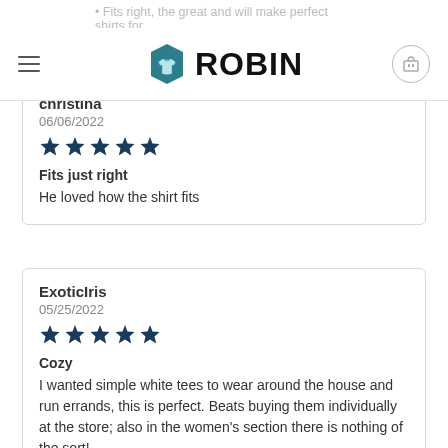ROBIN
christiana
06/06/2022
★★★★★
Fits just right
He loved how the shirt fits
ExoticIris
05/25/2022
★★★★★
Cozy
I wanted simple white tees to wear around the house and run errands, this is perfect. Beats buying them individually at the store; also in the women's section there is nothing of the sort!